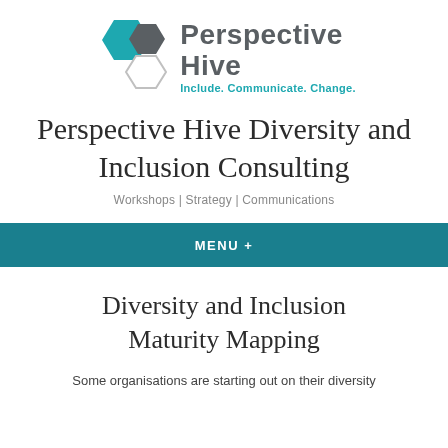[Figure (logo): Perspective Hive logo with three hexagons (teal, dark grey, white outline) and text 'Perspective Hive' with tagline 'Include. Communicate. Change.']
Perspective Hive Diversity and Inclusion Consulting
Workshops | Strategy | Communications
MENU +
Diversity and Inclusion Maturity Mapping
Some organisations are starting out on their diversity